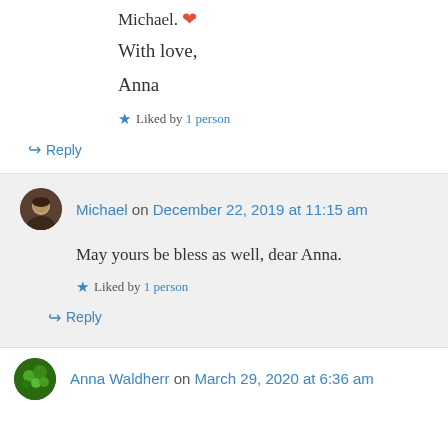Michael. ❤
With love,
Anna
★ Liked by 1 person
↳ Reply
Michael on December 22, 2019 at 11:15 am
May yours be bless as well, dear Anna.
★ Liked by 1 person
↳ Reply
Anna Waldherr on March 29, 2020 at 6:36 am